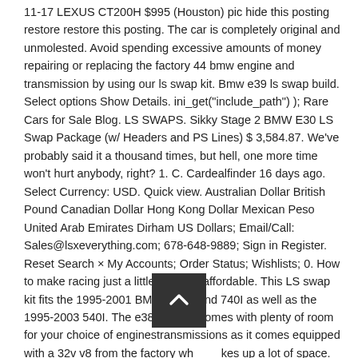11-17 LEXUS CT200H $995 (Houston) pic hide this posting restore restore this posting. The car is completely original and unmolested. Avoid spending excessive amounts of money repairing or replacing the factory 44 bmw engine and transmission by using our ls swap kit. Bmw e39 ls swap build. Select options Show Details. ini_get("include_path") ); Rare Cars for Sale Blog. LS SWAPS. Sikky Stage 2 BMW E30 LS Swap Package (w/ Headers and PS Lines) $ 3,584.87. We've probably said it a thousand times, but hell, one more time won't hurt anybody, right? 1. C. Cardealfinder 16 days ago. Select Currency: USD. Quick view. Australian Dollar British Pound Canadian Dollar Hong Kong Dollar Mexican Peso United Arab Emirates Dirham US Dollars; Email/Call: Sales@lsxeverything.com; 678-648-9889; Sign in Register. Reset Search × My Accounts; Order Status; Wishlists; 0. How to make racing just a little bit more affordable. This LS swap kit fits the 1995-2001 BMW 740IL and 740I as well as the 1995-2003 540I. The e38 chassis comes with plenty of room for your choice of enginestransmissions as it comes equipped with a 32v v8 from the factory which takes up a lot of space. Sikky Stage 1 BMW E39 LS Swap Package $ 1,439.94. Was: Previous Price $0,537.50 20% off. Full black leather Bu Bob